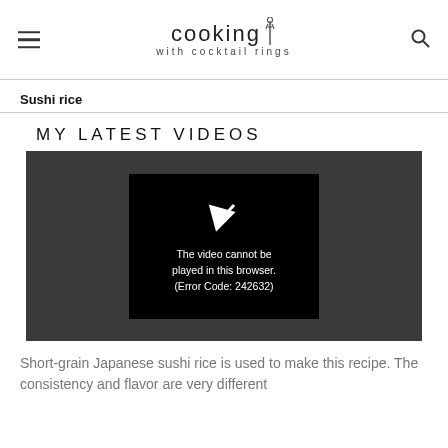cooking with cocktail rings
Sushi rice
MY LATEST VIDEOS
[Figure (screenshot): Video player showing error message: The video cannot be played in this browser. (Error Code: 242632)]
Short-grain Japanese sushi rice is used to make this recipe. The consistency and flavor are very different